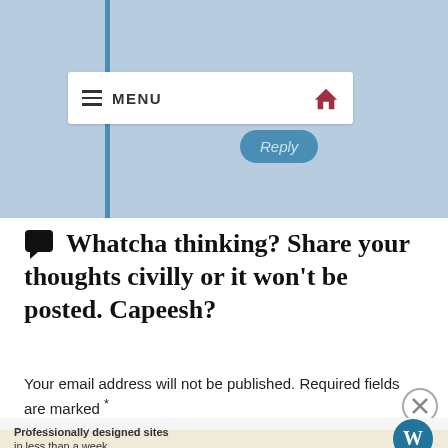[Figure (screenshot): Top section with light blue background, vertical blue bar on left, white menu bar with hamburger icon and MENU text and home icon, plus a Reply button below]
💬 Whatcha thinking? Share your thoughts civilly or it won't be posted. Capeesh?
Your email address will not be published. Required fields are marked *
Advertisements
Professionally designed sites in less than a week